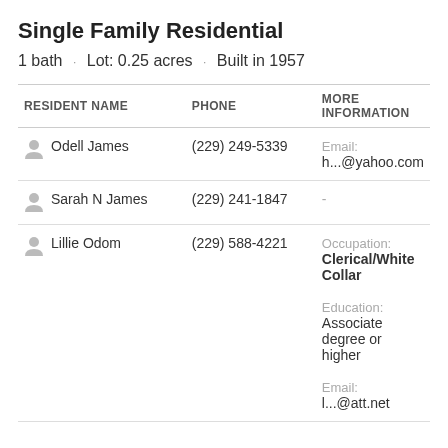Single Family Residential
1 bath · Lot: 0.25 acres · Built in 1957
| RESIDENT NAME | PHONE | MORE INFORMATION |
| --- | --- | --- |
| Odell James | (229) 249-5339 | Email: h...@yahoo.com |
| Sarah N James | (229) 241-1847 | - |
| Lillie Odom | (229) 588-4221 | Occupation: Clerical/White Collar
Education: Associate degree or higher
Email: l...@att.net |
View details »